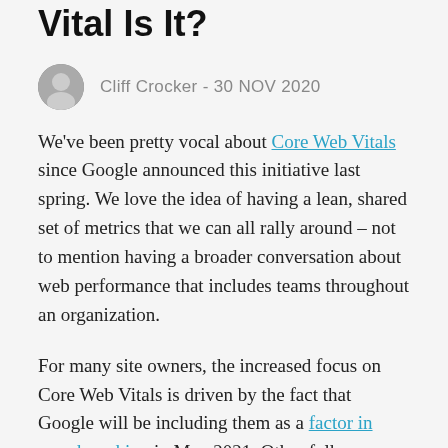Vital Is It?
Cliff Crocker - 30 NOV 2020
We've been pretty vocal about Core Web Vitals since Google announced this initiative last spring. We love the idea of having a lean, shared set of metrics that we can all rally around – not to mention having a broader conversation about web performance that includes teams throughout an organization.
For many site owners, the increased focus on Core Web Vitals is driven by the fact that Google will be including them as a factor in search ranking in May 2021. Other folks are more interested in distilling the extremely large barrel of performance metrics into an easily